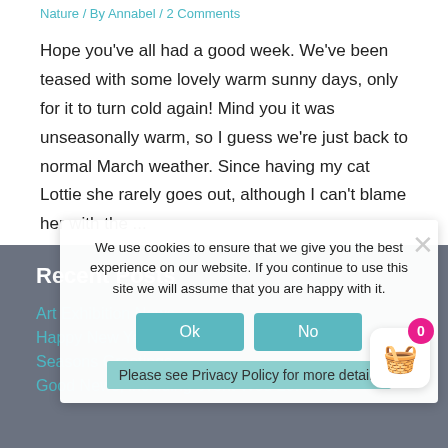Nature / By Annabel / 2 Comments
Hope you’ve all had a good week. We’ve been teased with some lovely warm sunny days, only for it to turn cold again! Mind you it was unseasonally warm, so I guess we’re just back to normal March weather. Since having my cat Lottie she rarely goes out, although I can’t blame her with the ...
Read More »
Recent Posts
Art Exhibition News
Happy New Year
Seasons Greetings
Good News, including event Wed 20th Oct
We use cookies to ensure that we give you the best experience on our website. If you continue to use this site we will assume that you are happy with it.
Please see Privacy Policy for more details